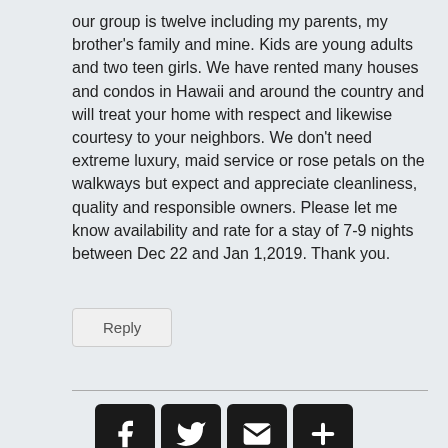our group is twelve including my parents, my brother's family and mine. Kids are young adults and two teen girls. We have rented many houses and condos in Hawaii and around the country and will treat your home with respect and likewise courtesy to your neighbors. We don't need extreme luxury, maid service or rose petals on the walkways but expect and appreciate cleanliness, quality and responsible owners. Please let me know availability and rate for a stay of 7-9 nights between Dec 22 and Jan 1,2019. Thank you.
Reply
[Figure (infographic): Social media sharing icons: Facebook, Twitter, Email, and a plus/more button, displayed as white icons on black rounded squares]